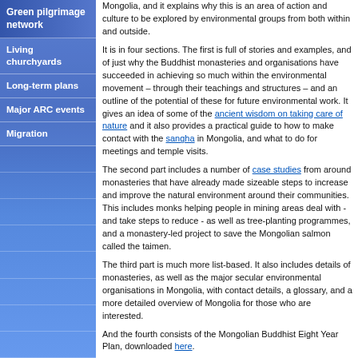Green pilgrimage network
Living churchyards
Long-term plans
Major ARC events
Migration
Mongolia, and it explains why this is an area of action and culture to be explored by environmental groups from both within and outside.
It is in four sections. The first is full of stories and examples, and of just why the Buddhist monasteries and organisations have succeeded in achieving so much within the environmental movement – through their teachings and structures – and an outline of the potential of these for future environmental work. It gives an idea of some of the ancient wisdom on taking care of nature and it also provides a practical guide to how to make contact with the sangha in Mongolia, and what to do for meetings and temple visits.
The second part includes a number of case studies from around monasteries that have already made sizeable steps to increase and improve the natural environment around their communities. This includes monks helping people in mining areas deal with - and take steps to reduce - as well as tree-planting programmes, and a monastery-led project to save the Mongolian salmon called the taimen.
The third part is much more list-based. It also includes details of monasteries, as well as the major secular environmental organisations in Mongolia, with contact details, a glossary, and a more detailed overview of Mongolia for those who are interested.
And the fourth consists of the Mongolian Buddhist Eight Year Plan, downloaded here.
"We need to live as the Buddha taught us to live, in peace and harmony. It must start with ourselves. If we are going to save this planet we need to be in ecological order, to look at the life we lead and then work together - because unless we work together no solution can be found. By moving away from greed, sharing wealth more, being more responsible for ourselves, and put together simply, we can help decrease much of the suffering in the world." Mongolian Statement on Ecology 1996.
The full brochure can be downloaded in English, or in Mongolian